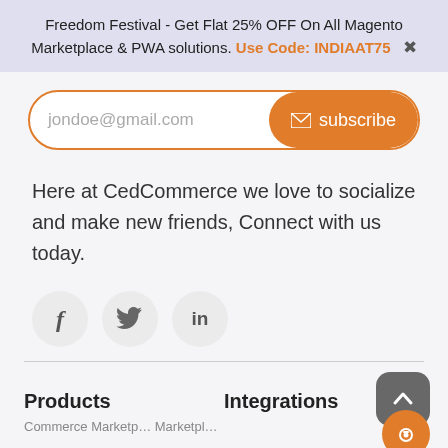Freedom Festival - Get Flat 25% OFF On All Magento Marketplace & PWA solutions. Use Code: INDIAAT75 ✖
[Figure (screenshot): Email subscription form with input field showing placeholder 'jondoe@gmail.com' and an orange 'subscribe' button with envelope icon.]
Here at CedCommerce we love to socialize and make new friends, Connect with us today.
[Figure (infographic): Three circular social media icons for Facebook (f), Twitter (bird), and LinkedIn (in).]
Products
Integrations